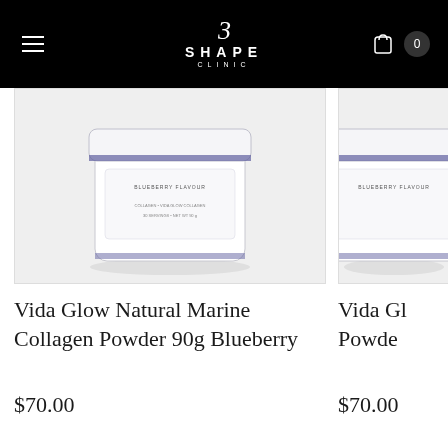[Figure (logo): 3 Shape Clinic logo on black header with hamburger menu and cart icon showing 0 items]
[Figure (photo): Vida Glow Natural Marine Collagen Powder 90g Blueberry product jar on light grey background]
Vida Glow Natural Marine Collagen Powder 90g Blueberry
$70.00
[Figure (photo): Partially visible second Vida Glow collagen powder product on light grey background]
Vida Gl
Powde
$70.00